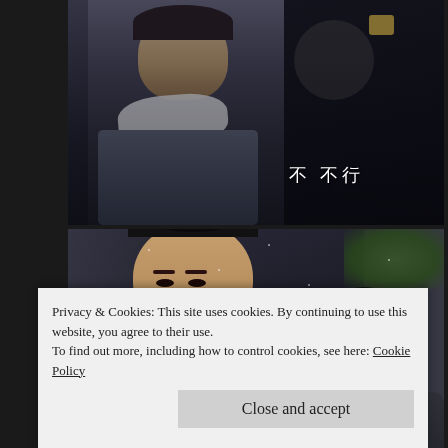[Figure (screenshot): Top screenshot panel: Two figures in traditional Chinese period drama costumes, dark atmospheric background. Chinese subtitle text overlaid: 不 不行]
[Figure (screenshot): Bottom screenshot panel: Close-up of a man in dark fur-trimmed robes with another figure in background. Snow visible. Period Chinese drama scene.]
Privacy & Cookies: This site uses cookies. By continuing to use this website, you agree to their use.
To find out more, including how to control cookies, see here: Cookie Policy
Close and accept